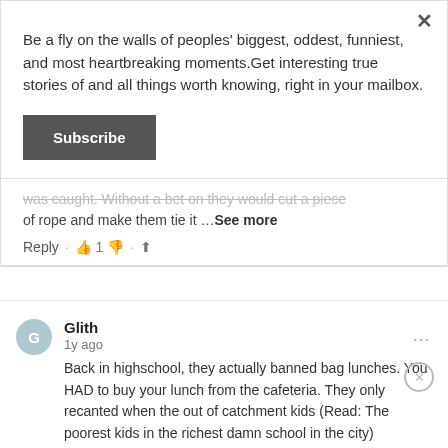Be a fly on the walls of peoples' biggest, oddest, funniest, and most heartbreaking moments.Get interesting true stories of and all things worth knowing, right in your mailbox.
Subscribe
was taught. Without a bet on they would cut a piece of rope and make them tie it …See more
Reply · 👍 1 👎 · ⬆
Glith
1y ago
Back in highschool, they actually banned bag lunches. You HAD to buy your lunch from the cafeteria. They only recanted when the out of catchment kids (Read: The poorest kids in the richest damn school in the city) threatened to sue.
Reply · 👍 👎 · ⬆